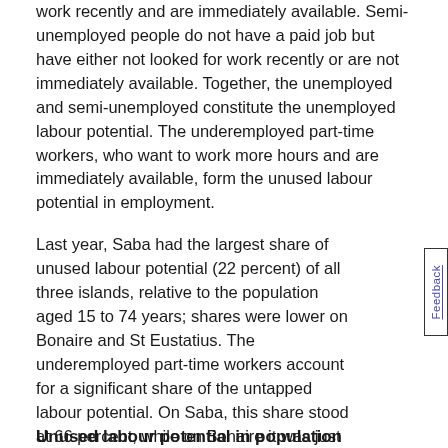work recently and are immediately available. Semi-unemployed people do not have a paid job but have either not looked for work recently or are not immediately available. Together, the unemployed and semi-unemployed constitute the unemployed labour potential. The underemployed part-time workers, who want to work more hours and are immediately available, form the unused labour potential in employment.
Last year, Saba had the largest share of unused labour potential (22 percent) of all three islands, relative to the population aged 15 to 74 years; shares were lower on Bonaire and St Eustatius. The underemployed part-time workers account for a significant share of the untapped labour potential. On Saba, this share stood at 66 percent, while on Bonaire it was just under 60 percent and on St Eustatius almost half.
Unused labour potential in population